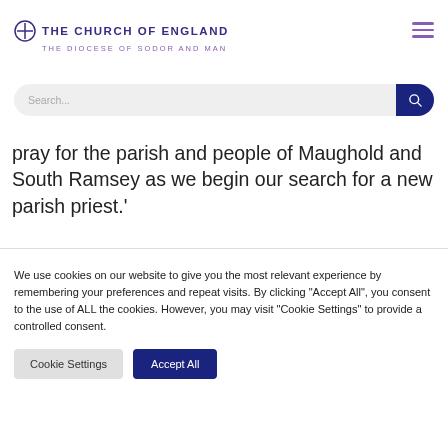THE CHURCH OF ENGLAND — THE DIOCESE OF SODOR AND MAN
pray for the parish and people of Maughold and South Ramsey as we begin our search for a new parish priest.'
We use cookies on our website to give you the most relevant experience by remembering your preferences and repeat visits. By clicking "Accept All", you consent to the use of ALL the cookies. However, you may visit "Cookie Settings" to provide a controlled consent.